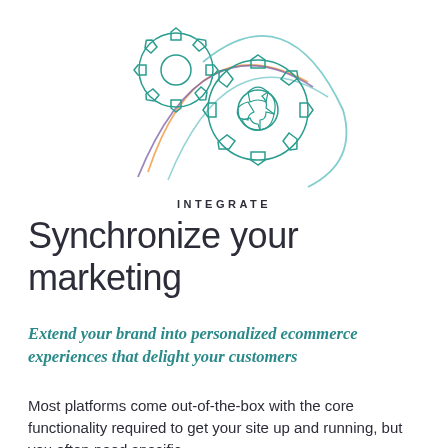[Figure (illustration): Two interlocking gear icons drawn with thin outlines. The smaller gear is in the upper-left with teal/green outline, and the larger gear is on the right with teal outline. Behind them are curved arc lines in orange/yellow, purple/blue, and teal colors suggesting motion or integration.]
INTEGRATE
Synchronize your marketing
Extend your brand into personalized ecommerce experiences that delight your customers
Most platforms come out-of-the-box with the core functionality required to get your site up and running, but you often need specific